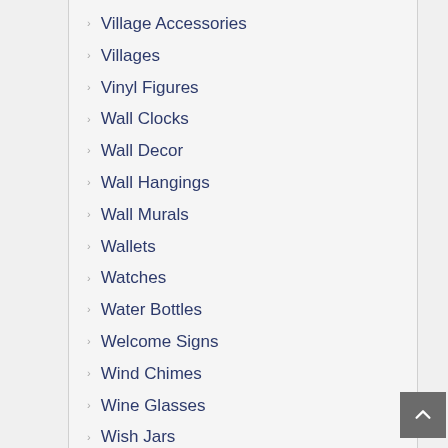Village Accessories
Villages
Vinyl Figures
Wall Clocks
Wall Decor
Wall Hangings
Wall Murals
Wallets
Watches
Water Bottles
Welcome Signs
Wind Chimes
Wine Glasses
Wish Jars
Womens Bracelets
Womens Earrings
Womens Jackets
Womens Necklaces and Pendants
Womens Rings